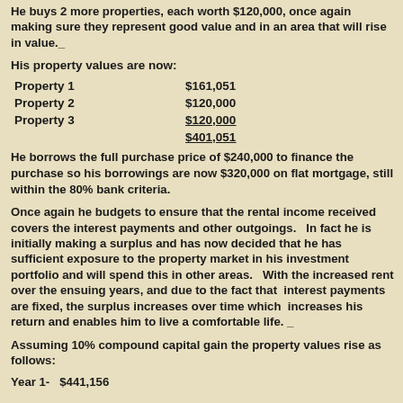He buys 2 more properties, each worth $120,000, once again making sure they represent good value and in an area that will rise in value.
His property values are now:
| Property | Value |
| --- | --- |
| Property 1 | $161,051 |
| Property 2 | $120,000 |
| Property 3 | $120,000 |
| Total | $401,051 |
He borrows the full purchase price of $240,000 to finance the purchase so his borrowings are now $320,000 on flat mortgage, still within the 80% bank criteria.
Once again he budgets to ensure that the rental income received covers the interest payments and other outgoings.   In fact he is initially making a surplus and has now decided that he has sufficient exposure to the property market in his investment portfolio and will spend this in other areas.   With the increased rent over the ensuing years, and due to the fact that  interest payments are fixed, the surplus increases over time which  increases his return and enables him to live a comfortable life.
Assuming 10% compound capital gain the property values rise as follows:
Year 1-   $441,156